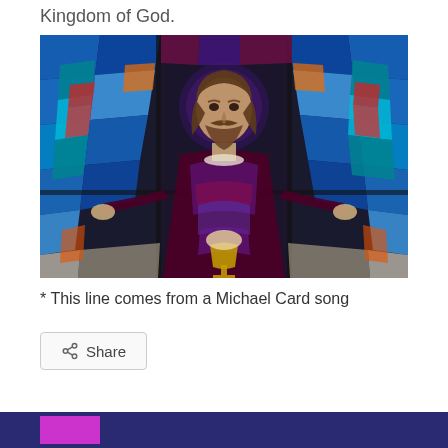Kingdom of God.
[Figure (photo): Stained glass window depicting Jesus Christ at the Last Supper, with colorful blue, purple, teal, and red glass pieces arranged in a radiating pattern around a central figure holding bread and a chalice.]
* This line comes from a Michael Card song
Share